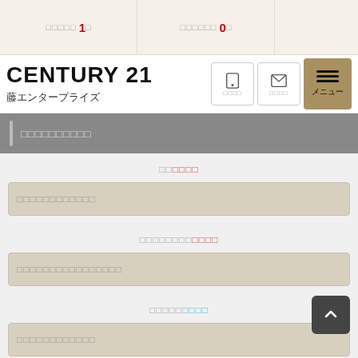お気に入り 1件　　お問い合わせ 0件
CENTURY 21 藤エンタープライズ
□□□□□□□□□□
□□□□□□
□□□□□□□□□□□□
□□□□□□□□□□□□
□□□□□□□□□□□□□□□□
□□□□□□□□
□□□□□□□□□□□□